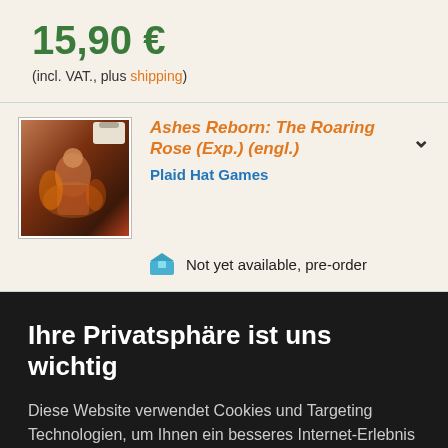15,90 €
(incl. VAT., plus shipping)
Ashes Reborn: The Roaring Rose (Exp.) (engl.)
Plaid Hat Games
Not yet available, pre-order
Ihre Privatsphäre ist uns wichtig
Diese Website verwendet Cookies und Targeting Technologien, um Ihnen ein besseres Internet-Erlebnis zu ermöglichen und die Werbung, die